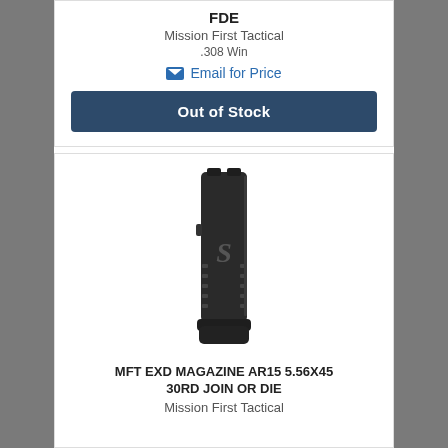FDE
Mission First Tactical
.308 Win
Email for Price
Out of Stock
[Figure (photo): Black AR-15 30-round magazine with snake/MFT logo embossed on the side]
MFT EXD MAGAZINE AR15 5.56X45 30RD JOIN OR DIE
Mission First Tactical